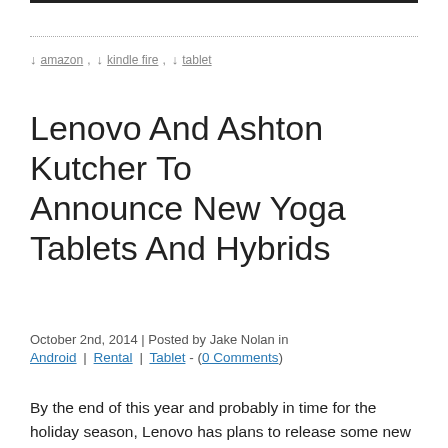↓ amazon , ↓ kindle fire , ↓ tablet
Lenovo And Ashton Kutcher To Announce New Yoga Tablets And Hybrids
October 2nd, 2014 | Posted by Jake Nolan in Android | Rental | Tablet - (0 Comments)
By the end of this year and probably in time for the holiday season, Lenovo has plans to release some new Yoga tablets and hybrids. As we all know, Ashton Kutcher is signed on with the company, and he is going to have a big part in the design and development of these new devices.